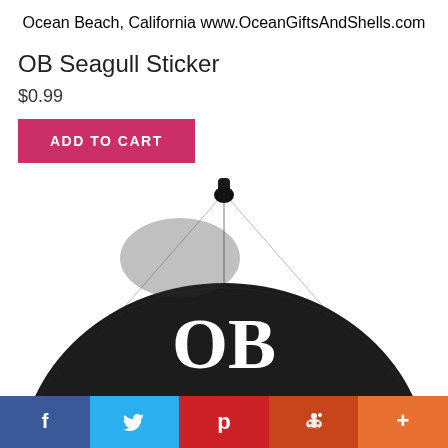Ocean Beach, California
www.OceanGiftsAndShells.com
OB Seagull Sticker
$0.99
ADD TO CART
[Figure (photo): Black baseball cap with white embroidered 'OB' letters on the front, viewed from the front-top angle]
Social share bar: Facebook, Twitter, Pinterest, Reddit, More